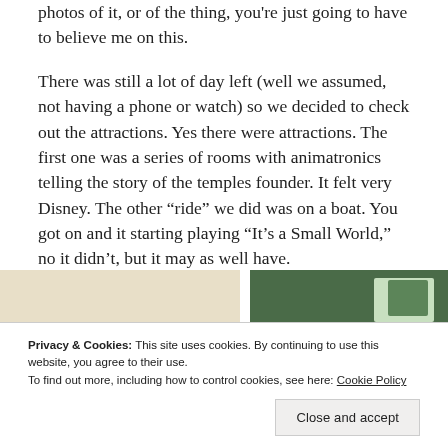photos of it, or of the thing, you're just going to have to believe me on this.
There was still a lot of day left (well we assumed, not having a phone or watch) so we decided to check out the attractions. Yes there were attractions. The first one was a series of rooms with animatronics telling the story of the temples founder. It felt very Disney. The other “ride” we did was on a boat. You got on and it starting playing “It’s a Small World,” no it didn’t, but it may as well have.
[Figure (photo): Partial view of two photos side by side — left appears cream/tan colored, right appears to show green food items on a white plate]
Privacy & Cookies: This site uses cookies. By continuing to use this website, you agree to their use.
To find out more, including how to control cookies, see here: Cookie Policy